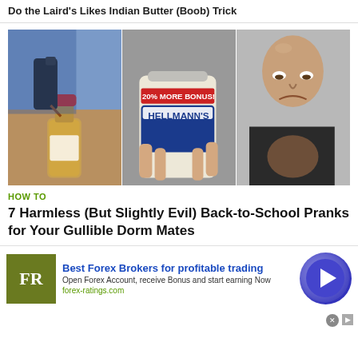Do the Laird's Likes Indian Butter (Boob) Trick
[Figure (photo): Three side-by-side images: left shows hands pouring liquid into a small bottle with red cap, center shows a hand holding a jar of Hellmann's mayonnaise with '20% More Bonus' label, right shows a bald man with an intense expression looking down]
HOW TO
7 Harmless (But Slightly Evil) Back-to-School Pranks for Your Gullible Dorm Mates
[Figure (photo): Partial image of hands holding what appears to be a wallet or phone on a table surface]
[Figure (other): Advertisement: FR logo (olive green square), Best Forex Brokers for profitable trading, Open Forex Account, receive Bonus and start earning Now, forex-ratings.com, with circular button arrow on right]